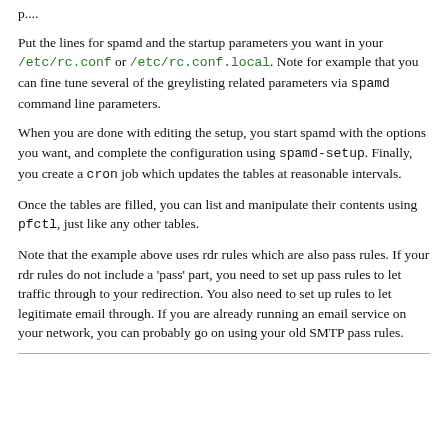p....
Put the lines for spamd and the startup parameters you want in your /etc/rc.conf or /etc/rc.conf.local. Note for example that you can fine tune several of the greylisting related parameters via spamd command line parameters.
When you are done with editing the setup, you start spamd with the options you want, and complete the configuration using spamd-setup. Finally, you create a cron job which updates the tables at reasonable intervals.
Once the tables are filled, you can list and manipulate their contents using pfctl, just like any other tables.
Note that the example above uses rdr rules which are also pass rules. If your rdr rules do not include a 'pass' part, you need to set up pass rules to let traffic through to your redirection. You also need to set up rules to let legitimate email through. If you are already running an email service on your network, you can probably go on using your old SMTP pass rules.